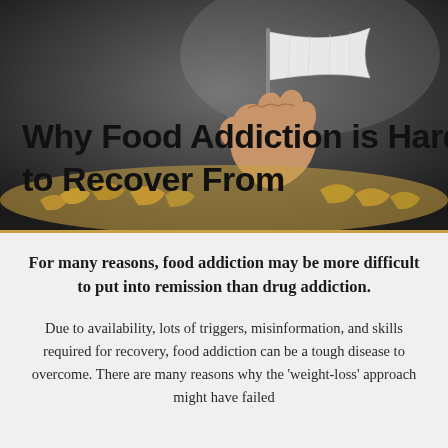[Figure (photo): A hand emerging from a pile of snack foods (chips/crisps), holding a white flag aloft against a dark gradient background. The title text 'Why Food Addiction is Hard to Recover From' is overlaid in large bold black text on the lower portion of the image.]
Why Food Addiction is Hard to Recover From
For many reasons, food addiction may be more difficult to put into remission than drug addiction.
Due to availability, lots of triggers, misinformation, and skills required for recovery, food addiction can be a tough disease to overcome. There are many reasons why the 'weight-loss' approach might have failed